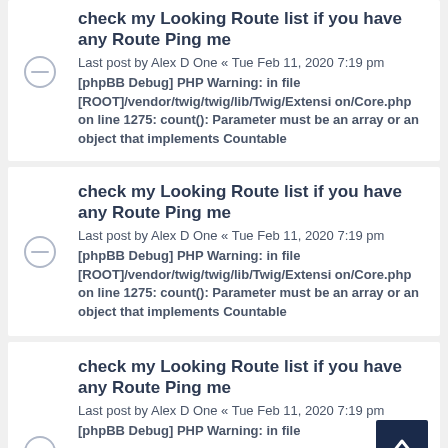check my Looking Route list if you have any Route Ping me
Last post by Alex D One « Tue Feb 11, 2020 7:19 pm
[phpBB Debug] PHP Warning: in file [ROOT]/vendor/twig/twig/lib/Twig/Extension/Core.php on line 1275: count(): Parameter must be an array or an object that implements Countable
check my Looking Route list if you have any Route Ping me
Last post by Alex D One « Tue Feb 11, 2020 7:19 pm
[phpBB Debug] PHP Warning: in file [ROOT]/vendor/twig/twig/lib/Twig/Extension/Core.php on line 1275: count(): Parameter must be an array or an object that implements Countable
check my Looking Route list if you have any Route Ping me
Last post by Alex D One « Tue Feb 11, 2020 7:19 pm
[phpBB Debug] PHP Warning: in file